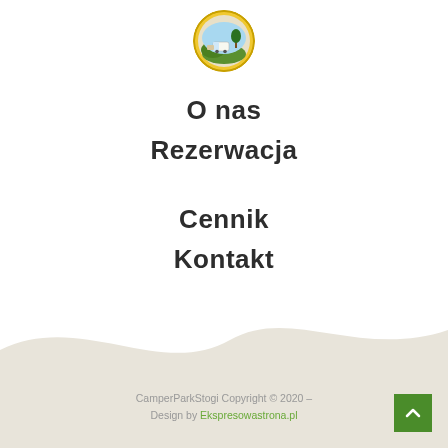[Figure (logo): Circular logo with yellow border, green and nature imagery, camper/caravan visible, text around the border]
O nas
Rezerwacja
Cennik
Kontakt
CamperParkStogi Copyright © 2020 – Design by Ekspresowastrona.pl